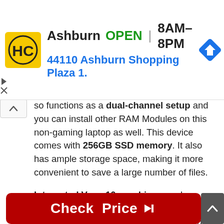[Figure (other): Ad banner for Ashburn HC store, showing logo, OPEN status, hours 8AM-8PM, address 44110 Ashburn Shopping Plaza 1., and navigation icon]
so functions as a dual-channel setup and you can install other RAM Modules on this non-gaming laptop as well. This device comes with 256GB SSD memory. It also has ample storage space, making it more convenient to save a large number of files.
Integrated Vega 10 graphics are also offered by this laptop which is probably better than Intel Graphics as well. It handles graphics-related stuff in a better way to a great extent, which helps in basic video editing, image editing, etc.
It is one of the best high-performance laptops, so it is an ideal choice for students. The 6hrs battery backup of this laptop isn't bad also, it performs well to make you happy.
[Figure (other): Red 'Check Price' button with arrow cursor icon]